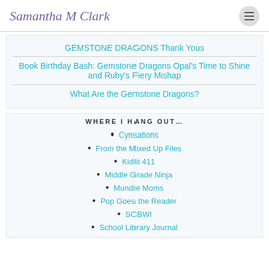Samantha M Clark
GEMSTONE DRAGONS Thank Yous
Book Birthday Bash: Gemstone Dragons Opal's Time to Shine and Ruby's Fiery Mishap
What Are the Gemstone Dragons?
WHERE I HANG OUT…
Cynsations
From the Mixed Up Files
Kidlit 411
Middle Grade Ninja
Mundie Moms
Pop Goes the Reader
SCBWI
School Library Journal